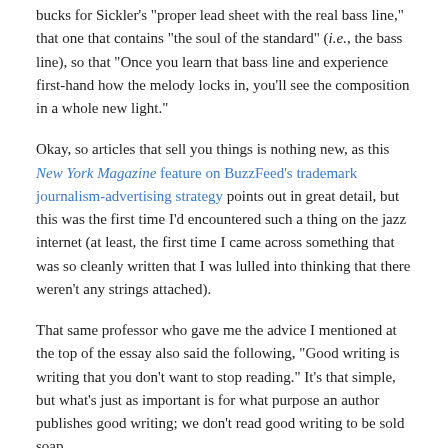bucks for Sickler's "proper lead sheet with the real bass line," that one that contains "the soul of the standard" (i.e., the bass line), so that "Once you learn that bass line and experience first-hand how the melody locks in, you'll see the composition in a whole new light."
Okay, so articles that sell you things is nothing new, as this New York Magazine feature on BuzzFeed's trademark journalism-advertising strategy points out in great detail, but this was the first time I'd encountered such a thing on the jazz internet (at least, the first time I came across something that was so cleanly written that I was lulled into thinking that there weren't any strings attached).
That same professor who gave me the advice I mentioned at the top of the essay also said the following, "Good writing is writing that you don't want to stop reading." It's that simple, but what's just as important is for what purpose an author publishes good writing; we don't read good writing to be sold soap.